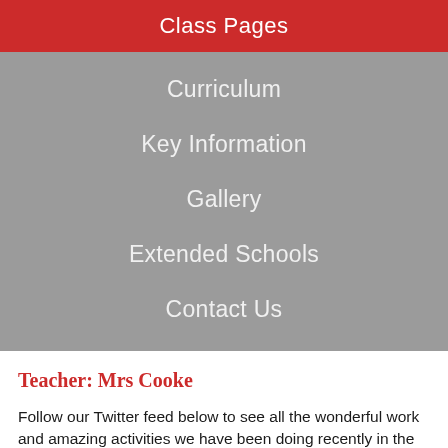Class Pages
Curriculum
Key Information
Gallery
Extended Schools
Contact Us
Teacher: Mrs Cooke
Follow our Twitter feed below to see all the wonderful work and amazing activities we have been doing recently in the Nursery.
Tweets by @St_Marys_N